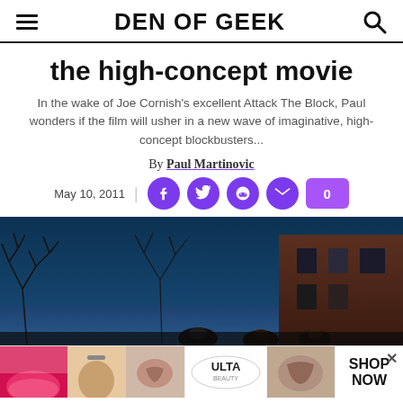DEN OF GEEK
the high-concept movie
In the wake of Joe Cornish's excellent Attack The Block, Paul wonders if the film will usher in a new wave of imaginative, high-concept blockbusters...
By Paul Martinovic
May 10, 2011
[Figure (photo): Hero image showing figures in hooded outerwear against a night sky with bare trees and a brick building — appears to be a scene from Attack The Block]
[Figure (photo): Advertisement banner at bottom showing beauty/makeup imagery and ULTA Beauty logo with SHOP NOW text]